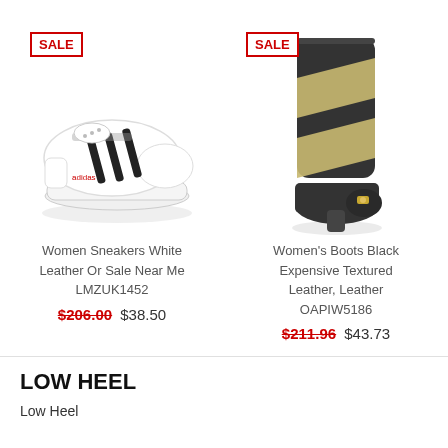[Figure (photo): White Adidas sneakers with black stripes on white background, SALE badge in red border top-left]
Women Sneakers White Leather Or Sale Near Me LMZUK1452
$206.00  $38.50
[Figure (photo): Black and gold leather heeled boots on white background, SALE badge in red border top-left]
Women's Boots Black Expensive Textured Leather, Leather OAPIW5186
$211.96  $43.73
LOW HEEL
Low Heel